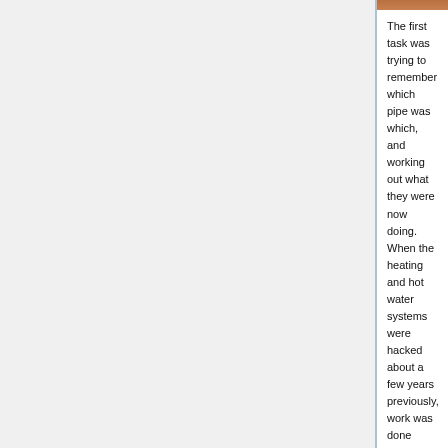[Figure (photo): A narrow horizontal photo strip at the top of the right content column, showing what appears to be a warm-toned indoor or plumbing-related image.]
The first task was trying to remember which pipe was which, and working out what they were now doing. When the heating and hot water systems were hacked about a few years previously, work was done hastily to disconnect the bits no longer needed, and to connect up the bits required for the new system. This was not necessarily done in a particularly neat or pretty way at the time - it was in a now "spare" cupboard after all.
There was a cold feed that went to the old cold water cistern, and another to the CH header tank, a feed and expansion pipe to the CH header, a feed from the main cold cistern to the inlet of the HW cylinder, plus separate vent pipe for both the heating and hot water systems. Then